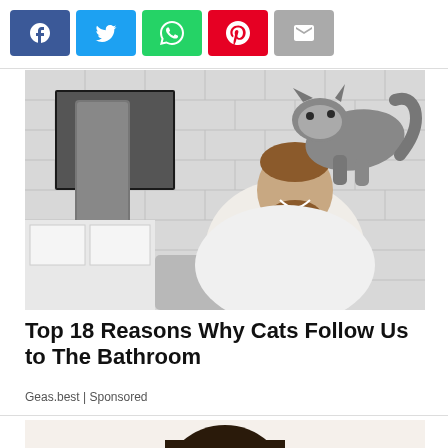[Figure (infographic): Social share buttons row: Facebook (blue), Twitter (light blue), WhatsApp (green), Pinterest (red), Email (gray)]
[Figure (photo): A man smiling at the bathroom sink with a cat standing on his back, leaning toward his face. White subway tile bathroom, mirror on wall, gray towel hanging.]
Top 18 Reasons Why Cats Follow Us to The Bathroom
Geas.best | Sponsored
[Figure (photo): Partial image of a second article — top of a person's head with dark hair, partially visible at bottom of page.]